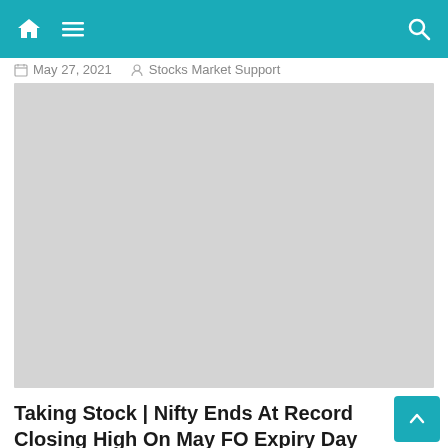Navigation bar with home, menu, and search icons
May 27, 2021   Stocks Market Support
[Figure (photo): Large grey image placeholder for article featured image]
Taking Stock | Nifty Ends At Record Closing High On May FO Expiry Day
May 27, 2021   Stocks Market Support
[Figure (photo): Bottom partial grey image placeholder]